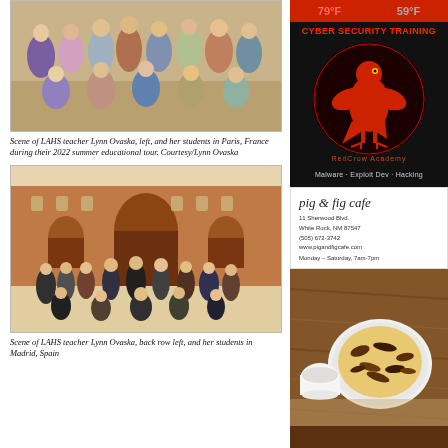[Figure (photo): Group photo of LAHS teacher Lynn Ovaska and her students posing together indoors in Paris, France]
Scene of LAHS teacher Lynn Ovaska, left, and her students in Paris, France during their 2022 summer educational tour. Courtesy/Lynn Ovaska
[Figure (photo): Group photo of LAHS teacher Lynn Ovaska and her students posing outdoors in Madrid, Spain in front of a large brick building]
Scene of LAHS teacher Lynn Ovaska, back row left, and her students in Madrid, Spain
[Figure (advertisement): Weather display showing 79°F and 59°F in red and grey]
[Figure (advertisement): Cyber Security Training ad for RedCrow Academy featuring a red crow on black background. Text: Malware - Exploit Dev - Hacking]
[Figure (advertisement): pig + fig cafe ad. 11 Sherwood Blvd., White Rock, NM 87547. (505) 672-3742. www.pigandfigcafe.com. Monday - Saturday, 7am-7pm]
[Figure (photo): Close-up photo of food dish, appears to be a casserole or baked dish in a white bowl on a wooden surface]